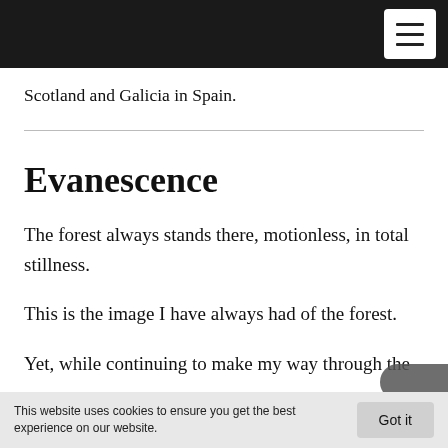[Navigation bar with hamburger menu button]
Scotland and Galicia in Spain.
Evanescence
The forest always stands there, motionless, in total stillness.
This is the image I have always had of the forest.
Yet, while continuing to make my way through the
This website uses cookies to ensure you get the best experience on our website.